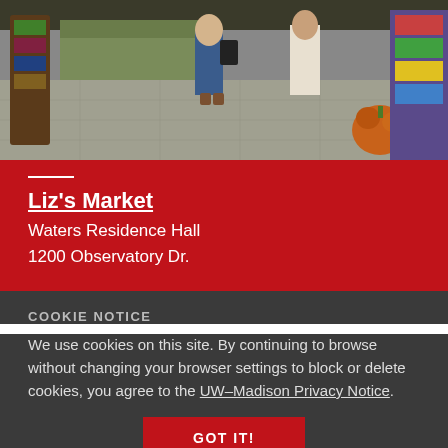[Figure (photo): Interior of a university market/convenience store with students near checkout counter and a pumpkin visible on the floor]
Liz's Market
Waters Residence Hall
1200 Observatory Dr.
COOKIE NOTICE
We use cookies on this site. By continuing to browse without changing your browser settings to block or delete cookies, you agree to the UW–Madison Privacy Notice.
GOT IT!